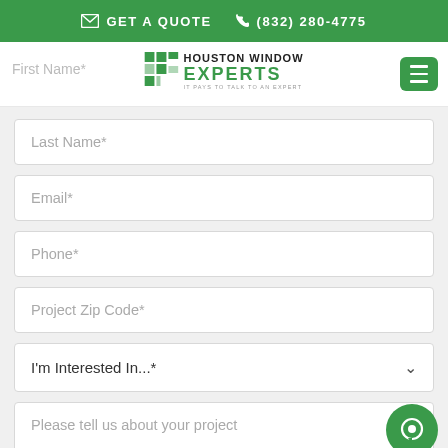GET A QUOTE  (832) 280-4775
[Figure (logo): Houston Window Experts logo with green grid icon and text]
First Name*
Last Name*
Email*
Phone*
Project Zip Code*
I'm Interested In...*
Please tell us about your project